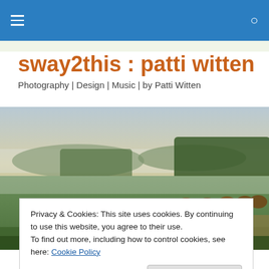sway2this : patti witten — navigation bar
sway2this : patti witten
Photography | Design | Music | by Patti Witten
[Figure (photo): Landscape photo of a misty green field at dawn with round hay bales and trees in the background]
Privacy & Cookies: This site uses cookies. By continuing to use this website, you agree to their use.
To find out more, including how to control cookies, see here: Cookie Policy
Photos